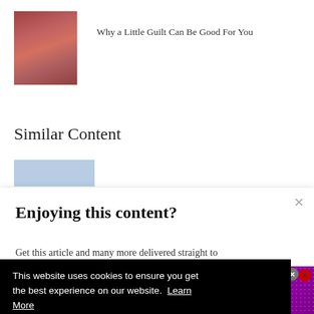[Figure (photo): Thumbnail photo of a person biting their fingers, wearing a patterned top]
Why a Little Guilt Can Be Good For You
Similar Content
[Figure (photo): Partial thumbnail image for similar content article]
Enjoying this content?
Get this article and many more delivered straight to
This website uses cookies to ensure you get the best experience on our website.  Learn More
[Figure (advertisement): Ad banner for Forbidden Desire game with pink/purple background, silhouette figure, and Play Now button]